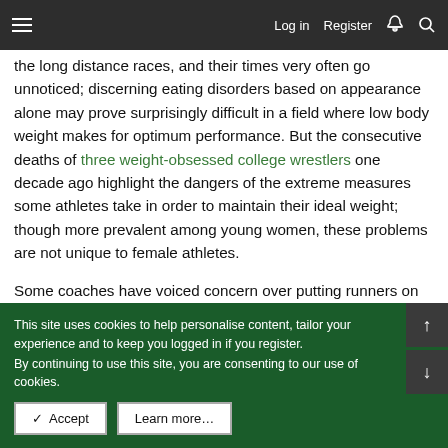Log in  Register
the long distance races, and their times very often go unnoticed; discerning eating disorders based on appearance alone may prove surprisingly difficult in a field where low body weight makes for optimum performance. But the consecutive deaths of three weight-obsessed college wrestlers one decade ago highlight the dangers of the extreme measures some athletes take in order to maintain their ideal weight; though more prevalent among young women, these problems are not unique to female athletes.
Some coaches have voiced concern over putting runners on the scale and emphasizing their weight, especially when the runners in question are high-school and college-aged girls who already face the nearly unbearable stresses of adolescent and
This site uses cookies to help personalise content, tailor your experience and to keep you logged in if you register.
By continuing to use this site, you are consenting to our use of cookies.